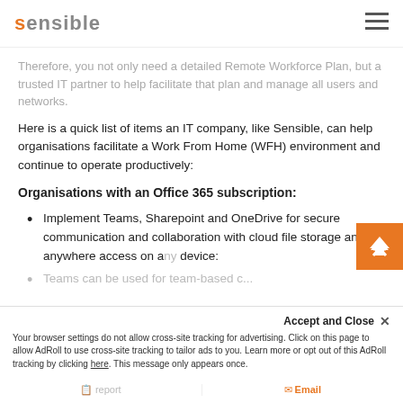sensible
Therefore, you not only need a detailed Remote Workforce Plan, but a trusted IT partner to help facilitate that plan and manage all users and networks.
Here is a quick list of items an IT company, like Sensible, can help organisations facilitate a Work From Home (WFH) environment and continue to operate productively:
Organisations with an Office 365 subscription:
Implement Teams, Sharepoint and OneDrive for secure communication and collaboration with cloud file storage and anywhere access on any device:
Teams can be used for team-based c...
Accept and Close ×
Your browser settings do not allow cross-site tracking for advertising. Click on this page to allow AdRoll to use cross-site tracking to tailor ads to you. Learn more or opt out of this AdRoll tracking by clicking here. This message only appears once.
Report | Email